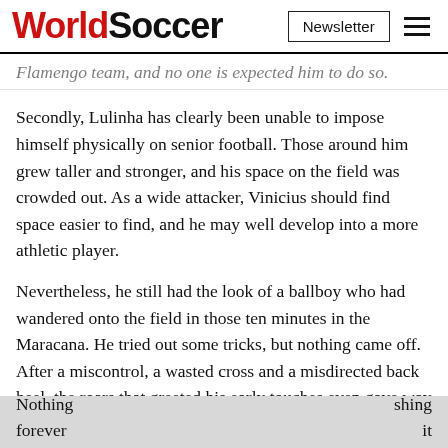WorldSoccer | Newsletter
Flamengo team, and no one is expected him to do so.
Secondly, Lulinha has clearly been unable to impose himself physically on senior football. Those around him grew taller and stronger, and his space on the field was crowded out. As a wide attacker, Vinicius should find space easier to find, and he may well develop into a more athletic player.
Nevertheless, he still had the look of a ballboy who had wandered onto the field in those ten minutes in the Maracana. He tried out some tricks, but nothing came off. After a miscontrol, a wasted cross and a misdirected back heel, the roars that greeted his early touches even gave way to a few groans at one point when he lost possession.
Nothing…shing forever…it